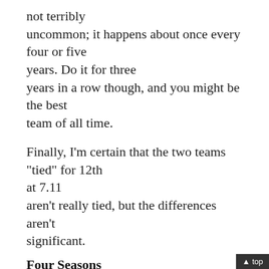not terribly uncommon; it happens about once every four or five years. Do it for three years in a row though, and you might be the best team of all time.
Finally, I'm certain that the two teams "tied" for 12th at 7.11 aren't really tied, but the differences aren't significant.
Four Seasons
|  | Team | Four-Year CQ |
| --- | --- | --- |
| 1. | 1995-98 Atlanta Braves | 7.66 |
| 2. | 1941-44 New York Yankees | 7.45 |
| 3. | 1988-91 Oakland Athletics |  |